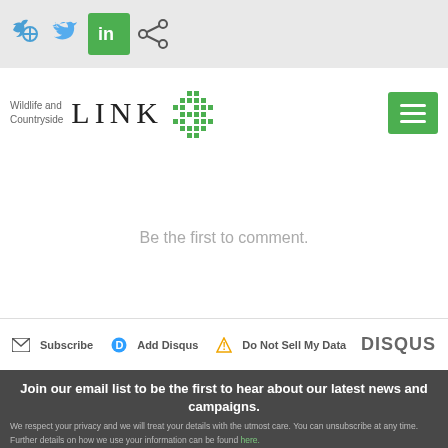[Figure (screenshot): Social media sharing icons bar: Twitter bird icon, LinkedIn green square icon, share icon on light grey background]
[Figure (logo): Wildlife and Countryside LINK logo with green diamond geometric pattern, and green hamburger menu button on right]
Be the first to comment.
Subscribe  Add Disqus  Do Not Sell My Data  DISQUS
Join our email list to be the first to hear about our latest news and campaigns.
We respect your privacy and we will treat your details with the utmost care. You can unsubscribe at any time.
Further details on how we use your information can be found here.
Are you a member of WCL?